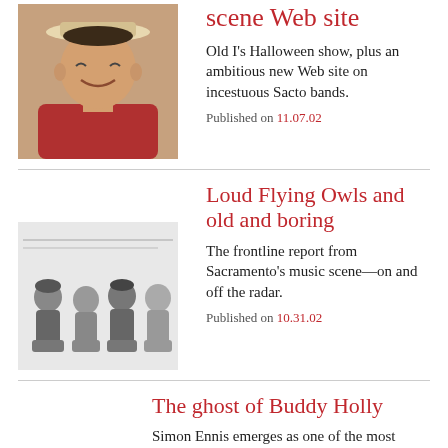scene Web site
[Figure (photo): Portrait photo of a person wearing a hat, smiling, wearing red]
Old I's Halloween show, plus an ambitious new Web site on incestuous Sacto bands.
Published on 11.07.02
Loud Flying Owls and old and boring
[Figure (photo): Black and white photo of a music band sitting together]
The frontline report from Sacramento's music scene—on and off the radar.
Published on 10.31.02
The ghost of Buddy Holly
[Figure (photo): Black and white portrait photo of a person wearing a hat]
Simon Ennis emerges as one of the most talented, complex and irony